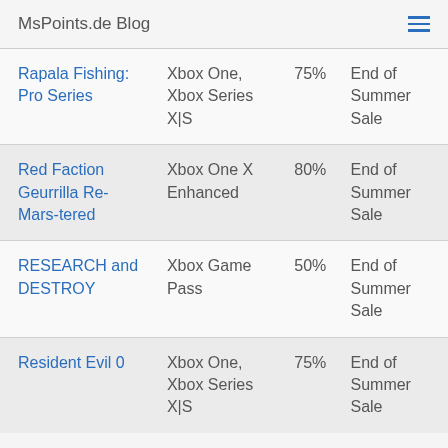MsPoints.de Blog
| Game | Platform | Discount | Sale |
| --- | --- | --- | --- |
| Rapala Fishing: Pro Series | Xbox One, Xbox Series X|S | 75% | End of Summer Sale |
| Red Faction Geurrilla Re-Mars-tered | Xbox One X Enhanced | 80% | End of Summer Sale |
| RESEARCH and DESTROY | Xbox Game Pass | 50% | End of Summer Sale |
| Resident Evil 0 | Xbox One, Xbox Series X|S | 75% | End of Summer Sale |